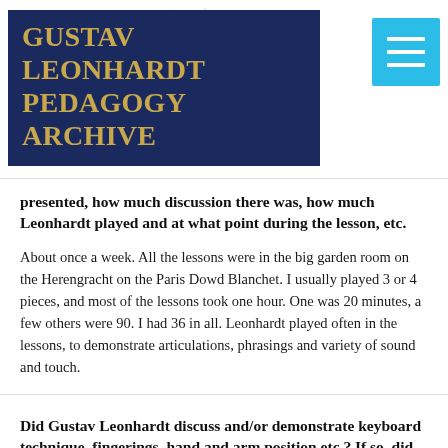GUSTAV LEONHARDT PEDAGOGY ARCHIVE
presented, how much discussion there was, how much Leonhardt played and at what point during the lesson, etc.
About once a week. All the lessons were in the big garden room on the Herengracht on the Paris Dowd Blanchet. I usually played 3 or 4 pieces, and most of the lessons took one hour. One was 20 minutes, a few others were 90. I had 36 in all. Leonhardt played often in the lessons, to demonstrate articulations, phrasings and variety of sound and touch.
Did Gustav Leonhardt discuss and/or demonstrate keyboard technique, fingerings, hand and arm position,etc.? If so, did he relate these aspects to different periods, traditions and/or national styles of